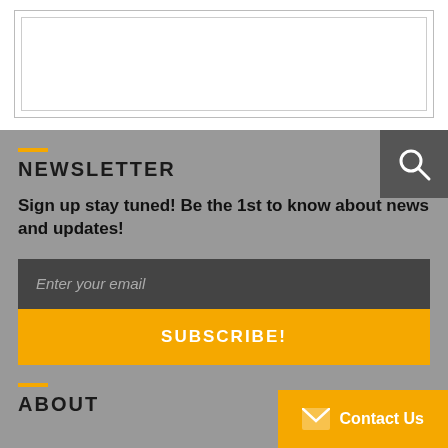[Figure (screenshot): White section at top showing nested border/frame element]
NEWSLETTER
Sign up stay tuned! Be the 1st to know about news and updates!
Enter your email
SUBSCRIBE!
ABOUT
Contact Us